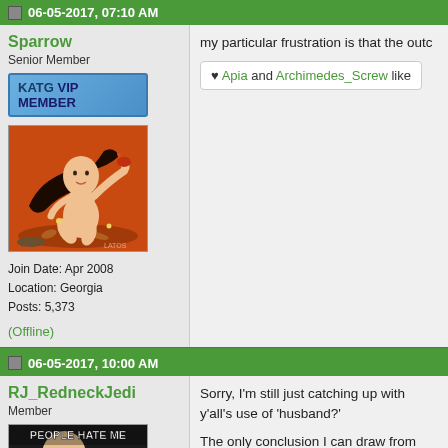06-05-2017, 07:10 AM
Sparrow
Senior Member
KATG VIP MEMBER
[Figure (illustration): Cartoon illustration of a woman with long dark hair on an orange background]
Join Date: Apr 2008
Location: Georgia
Posts: 5,373
(Offline)
my particular frustration is that the outc
♥ Apia and Archimedes_Screw like
06-05-2017, 10:00 AM
RJ_RedneckJedi
Member
[Figure (photo): Meme image with text PEOPLE HATE ME showing a bald man with glasses and a cartoon character]
Sorry, I'm still just catching up with y'all's use of 'husband?'

The only conclusion I can draw from th... the other team.

Have I drawn the wrong conclusion her